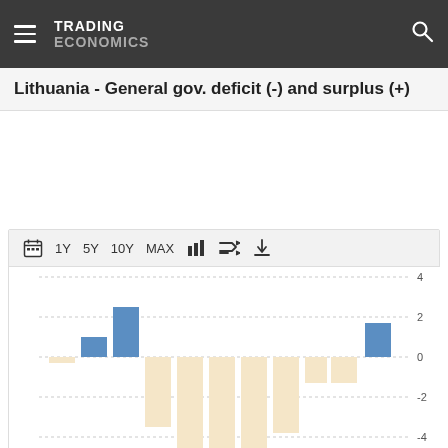TRADING ECONOMICS
Lithuania - General gov. deficit (-) and surplus (+)
[Figure (bar-chart): Lithuania - General gov. deficit (-) and surplus (+)]